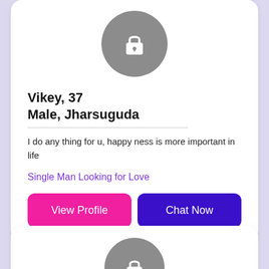[Figure (illustration): Profile card with locked avatar (gray circle with padlock icon). Name: Vikey, 37. Details: Male, Jharsuguda. Bio: I do any thing for u, happy ness is more important in life. Tag: Single Man Looking for Love. Buttons: View Profile (pink), Chat Now (dark purple).]
Vikey, 37
Male, Jharsuguda
I do any thing for u, happy ness is more important in life
Single Man Looking for Love
[Figure (illustration): Second profile card with locked avatar (gray circle with padlock icon), partially visible at bottom.]